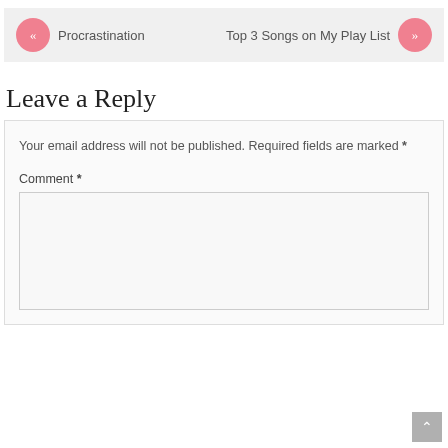[Figure (other): Navigation bar with back arrow circle linking to 'Procrastination' and forward arrow circle linking to 'Top 3 Songs on My Play List']
Leave a Reply
Your email address will not be published. Required fields are marked *
Comment *